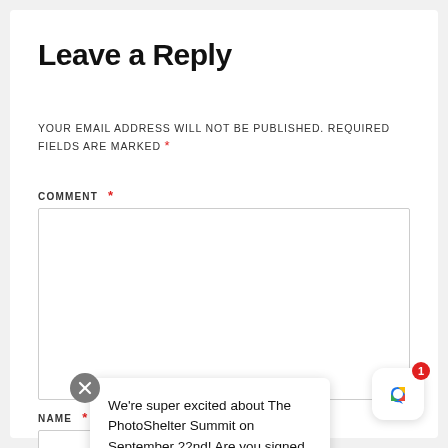Leave a Reply
YOUR EMAIL ADDRESS WILL NOT BE PUBLISHED. REQUIRED FIELDS ARE MARKED *
COMMENT *
[Figure (screenshot): Empty comment textarea input box with resize handle]
NAME *
[Figure (screenshot): Tooltip popup with close button (X) showing text: We're super excited about The PhotoShelter Summit on September 22nd! Are you signed up?]
[Figure (screenshot): Notification widget icon with badge showing count of 1]